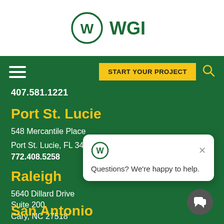[Figure (logo): WGI company logo with W in circle and WGI text, dark green color]
Navigation bar with hamburger menu, START YOUR PROJECT button, and search icon
407.581.1221
Port St. Lucie
548 Mercantile Place
Port St. Lucie, FL 34986
772.408.5258
Raleigh
5640 Dillard Drive
Suite 200
Cary, NC 27518
919.852.0468
San Antonio
[Figure (other): Chat popup with WGI icon and text 'Questions? We're happy to help.' with X close button and chat bubble button]